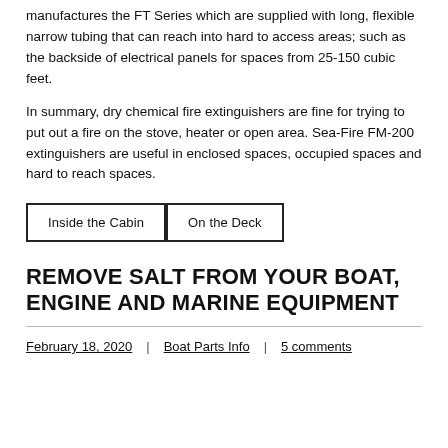manufactures the FT Series which are supplied with long, flexible narrow tubing that can reach into hard to access areas; such as the backside of electrical panels for spaces from 25-150 cubic feet.
In summary, dry chemical fire extinguishers are fine for trying to put out a fire on the stove, heater or open area. Sea-Fire FM-200 extinguishers are useful in enclosed spaces, occupied spaces and hard to reach spaces.
Inside the Cabin
On the Deck
REMOVE SALT FROM YOUR BOAT, ENGINE AND MARINE EQUIPMENT
February 18, 2020 | Boat Parts Info | 5 comments